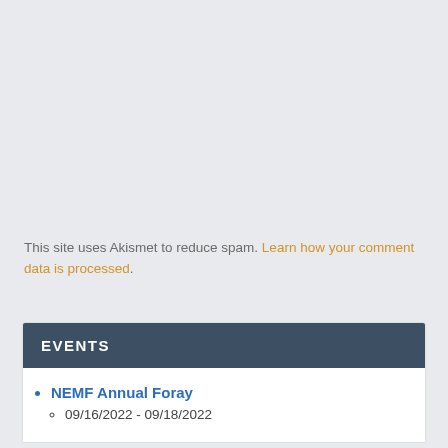This site uses Akismet to reduce spam. Learn how your comment data is processed.
EVENTS
NEMF Annual Foray
09/16/2022 - 09/18/2022